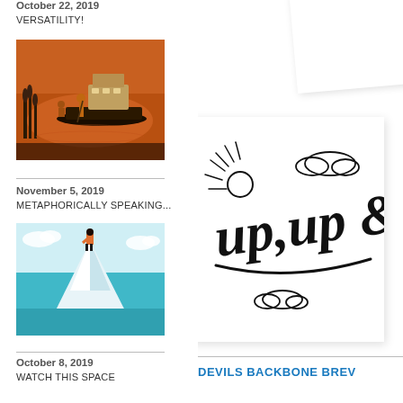October 22, 2019
VERSATILITY!
[Figure (photo): Two men on a raft/boat on a river at sunset/dusk with warm orange reflections on the water and reeds in the foreground]
November 5, 2019
METAPHORICALLY SPEAKING...
[Figure (illustration): Stylized illustration of a person in orange shirt bent forward at the peak of a white/light blue mountain against teal background]
October 8, 2019
WATCH THIS SPACE
[Figure (illustration): Hand-lettered 'up, up &' text with sun rays and clouds on white card background]
DEVILS BACKBONE BREV